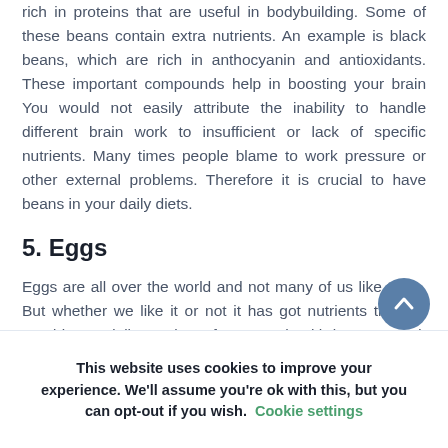rich in proteins that are useful in bodybuilding. Some of these beans contain extra nutrients. An example is black beans, which are rich in anthocyanin and antioxidants. These important compounds help in boosting your brain You would not easily attribute the inability to handle different brain work to insufficient or lack of specific nutrients. Many times people blame to work pressure or other external problems. Therefore it is crucial to have beans in your daily diets.
5. Eggs
Eggs are all over the world and not many of us like them. But whether we like it or not it has got nutrients that we need in our daily meals as far as our health is concerned. Eggs are one of the foods rich in high-quality proteins
This website uses cookies to improve your experience. We'll assume you're ok with this, but you can opt-out if you wish. Cookie settings